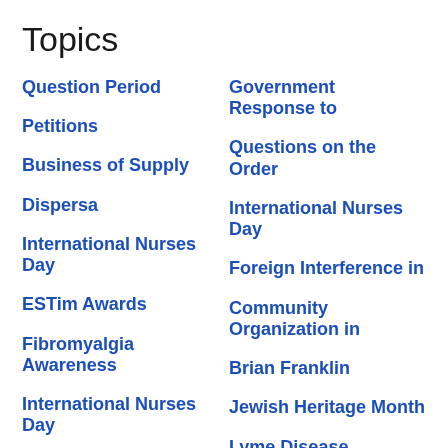Topics
Question Period
Government Response to
Petitions
Questions on the Order
Business of Supply
International Nurses Day
Dispersa
Foreign Interference in
International Nurses Day
Community Organization in
ESTim Awards
Brian Franklin
Fibromyalgia Awareness
Jewish Heritage Month
International Nurses Day
Lyme Disease Awareness
Health Care
Vaccine Mandates
Asian Heritage Month
Community Futures
Women's Rights
Vaccine Mandates
National Mining Week
Immigration, Refugees and
Public Safety
Natural Resources